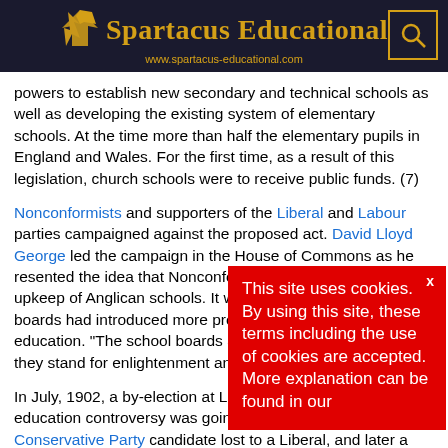Spartacus Educational — www.spartacus-educational.com
powers to establish new secondary and technical schools as well as developing the existing system of elementary schools. At the time more than half the elementary pupils in England and Wales. For the first time, as a result of this legislation, church schools were to receive public funds. (7)
Nonconformists and supporters of the Liberal and Labour parties campaigned against the proposed act. David Lloyd George led the campaign in the House of Commons as he resented the idea that Nonconformists contributing to the upkeep of Anglican schools. It was also argued that school boards had introduced more progressive methods of education. "The school boards are to be destroyed because they stand for enlightenment and progress." (8)
In July, 1902, a by-election at Leeds demonstrated that the education controversy was going to party fortunes. When a Conservative Party candidate lost to a Liberal, and later a Liberal majority came...
This site uses cookies. By using this site, these terms including the use of cookies are accepted. More explanation can be found in our